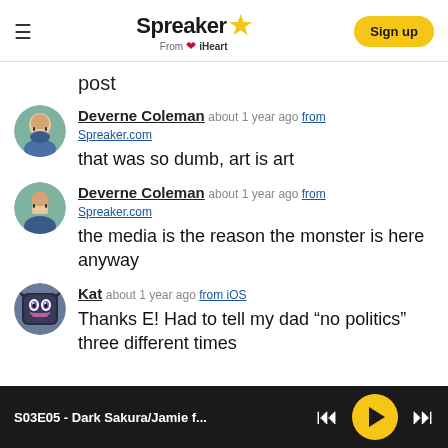Spreaker From iHeart | Sign up
post
Deverne Coleman about 1 year ago from Spreaker.com
that was so dumb, art is art
Deverne Coleman about 1 year ago from Spreaker.com
the media is the reason the monster is here anyway
Kat about 1 year ago from iOS
Thanks E! Had to tell my dad “no politics” three different times
S03E05 - Dark Sakura/Jamie f...